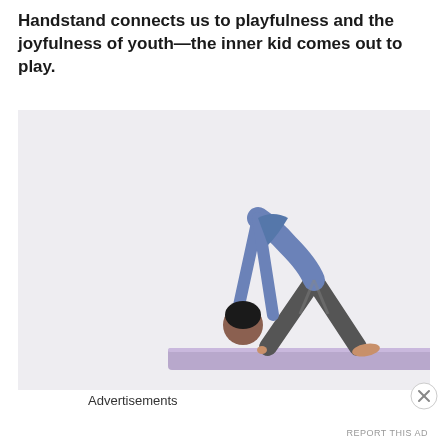Handstand connects us to playfulness and the joyfulness of youth—the inner kid comes out to play.
[Figure (photo): A person in a yoga downward dog / pike position on a purple yoga mat, wearing a blue top and grey leggings, head bowed down toward the mat.]
Advertisements